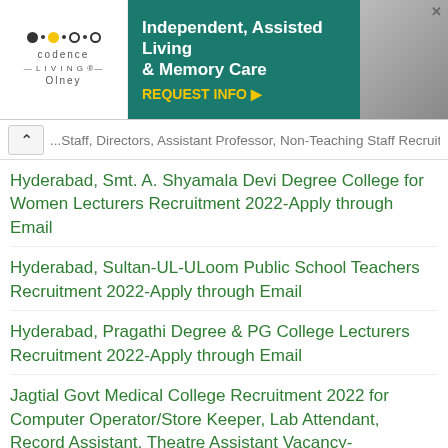[Figure (other): Advertisement banner for Codence Living - Independent, Assisted Living & Memory Care with REQUEST INFO call to action]
...Staff, Directors, Assistant Professor, Non-Teaching Staff Recruitment 2022- Apply through Email
Hyderabad, Smt. A. Shyamala Devi Degree College for Women Lecturers Recruitment 2022-Apply through Email
Hyderabad, Sultan-UL-ULoom Public School Teachers Recruitment 2022-Apply through Email
Hyderabad, Pragathi Degree & PG College Lecturers Recruitment 2022-Apply through Email
Jagtial Govt Medical College Recruitment 2022 for Computer Operator/Store Keeper, Lab Attendant, Record Assistant, Theatre Assistant Vacancy-Outsourcing Jobs
SCCL Mines General Medical Consultant Recruitment 2022 30 Govt Jobs-Apply Online-Walk in on 16-08-2022
Yashodeep Institute of Pharmacy Professor, Assistant...